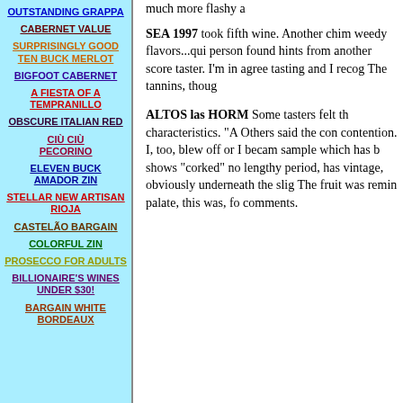OUTSTANDING GRAPPA
CABERNET VALUE
SURPRISINGLY GOOD TEN BUCK MERLOT
BIGFOOT CABERNET
A FIESTA OF A TEMPRANILLO
OBSCURE ITALIAN RED
CIÙ CIÙ PECORINO
ELEVEN BUCK AMADOR ZIN
STELLAR NEW ARTISAN RIOJA
CASTELÃO BARGAIN
COLORFUL ZIN
PROSECCO FOR ADULTS
BILLIONAIRE'S WINES UNDER $30!
BARGAIN WHITE BORDEAUX
much more flashy a
SEA 1997 took fifth wine. Another chim weedy flavors...qui person found hints from another score taster. I'm in agree tasting and I recog The tannins, thoug
ALTOS las HORM Some tasters felt th characteristics. "A Others said the con contention. I, too, blew off or I becam sample which has b shows "corked" no lengthy period, has vintage, obviously underneath the slig The fruit was remin palate, this was, fo comments.